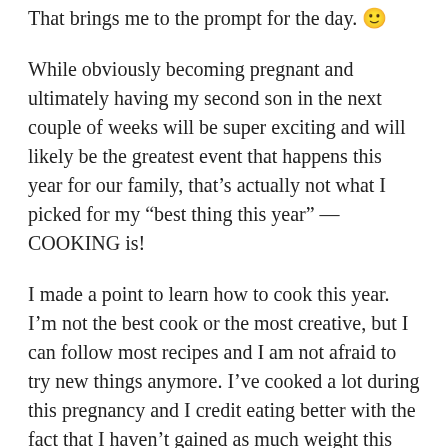That brings me to the prompt for the day. 🙂
While obviously becoming pregnant and ultimately having my second son in the next couple of weeks will be super exciting and will likely be the greatest event that happens this year for our family, that's actually not what I picked for my "best thing this year" — COOKING is!
I made a point to learn how to cook this year. I'm not the best cook or the most creative, but I can follow most recipes and I am not afraid to try new things anymore. I've cooked a lot during this pregnancy and I credit eating better with the fact that I haven't gained as much weight this time around compared to